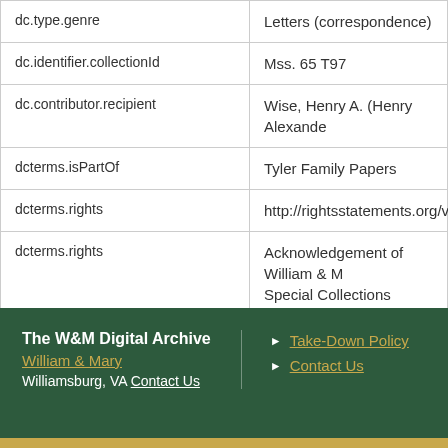| Field | Value |
| --- | --- |
| dc.type.genre | Letters (correspondence) |
| dc.identifier.collectionId | Mss. 65 T97 |
| dc.contributor.recipient | Wise, Henry A. (Henry Alexande... |
| dcterms.isPartOf | Tyler Family Papers |
| dcterms.rights | http://rightsstatements.org/vocab... |
| dcterms.rights | Acknowledgement of William & M... Special Collections Research Ce... is requested. |
The W&M Digital Archive
William & Mary
Williamsburg, VA Contact Us
► Take-Down Policy
► Contact Us